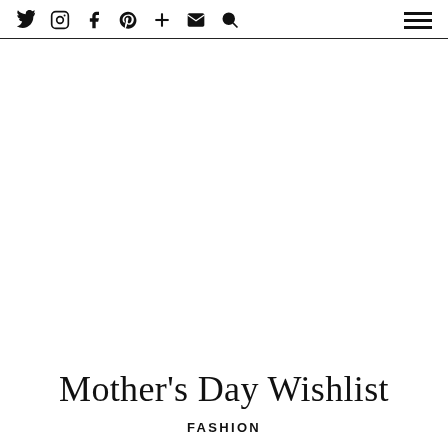social icons and menu
Mother's Day Wishlist
FASHION